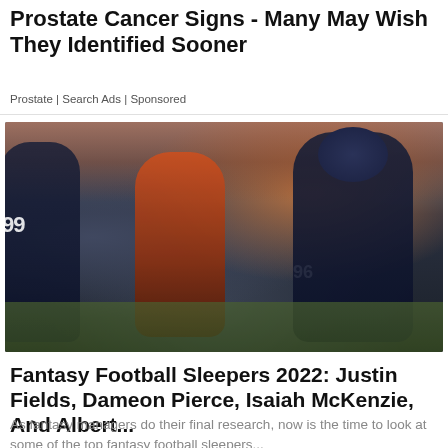Prostate Cancer Signs - Many May Wish They Identified Sooner
Prostate | Search Ads | Sponsored
[Figure (photo): NFL football game action photo showing Chicago Bears quarterback running with the ball while Cleveland Browns player #96 attempts a tackle. Bears lineman #99 visible on the left.]
Fantasy Football Sleepers 2022: Justin Fields, Dameon Pierce, Isaiah McKenzie, And Albert...
As fantasy managers do their final research, now is the time to look at some of the top fantasy football sleepers...